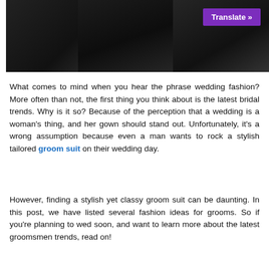[Figure (photo): Men in dark suits standing together, wedding groomsmen photo]
Translate »
What comes to mind when you hear the phrase wedding fashion? More often than not, the first thing you think about is the latest bridal trends. Why is it so? Because of the perception that a wedding is a woman's thing, and her gown should stand out. Unfortunately, it's a wrong assumption because even a man wants to rock a stylish tailored groom suit on their wedding day.
However, finding a stylish yet classy groom suit can be daunting. In this post, we have listed several fashion ideas for grooms. So if you're planning to wed soon, and want to learn more about the latest groomsmen trends, read on!